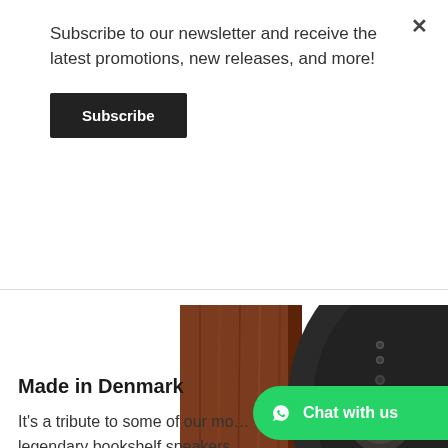Subscribe to our newsletter and receive the latest promotions, new releases, and more!
Subscribe
[Figure (photo): Close-up photograph of a high-end bookshelf speaker with a dark circular driver mounted on a warm reddish-brown wooden cabinet enclosure.]
Made in Denmark
It's a tribute to some of our mo... legendary bookshelf speakers... close and personal, and you'll notice
Chat with us